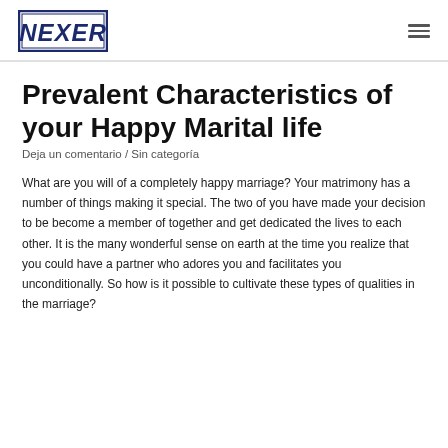NEXER
Prevalent Characteristics of your Happy Marital life
Deja un comentario / Sin categoría
What are you will of a completely happy marriage? Your matrimony has a number of things making it special. The two of you have made your decision to be become a member of together and get dedicated the lives to each other. It is the many wonderful sense on earth at the time you realize that you could have a partner who adores you and facilitates you unconditionally. So how is it possible to cultivate these types of qualities in the marriage?